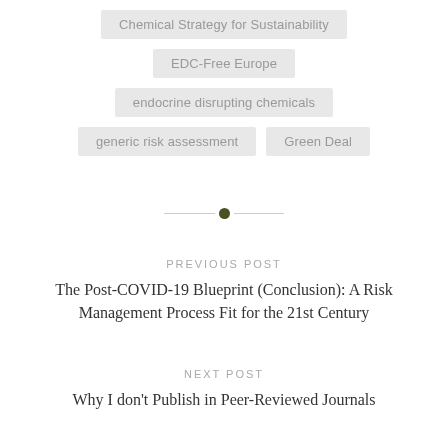Chemical Strategy for Sustainability
EDC-Free Europe
endocrine disrupting chemicals
generic risk assessment
Green Deal
PREVIOUS POST
The Post-COVID-19 Blueprint (Conclusion): A Risk Management Process Fit for the 21st Century
NEXT POST
Why I don't Publish in Peer-Reviewed Journals